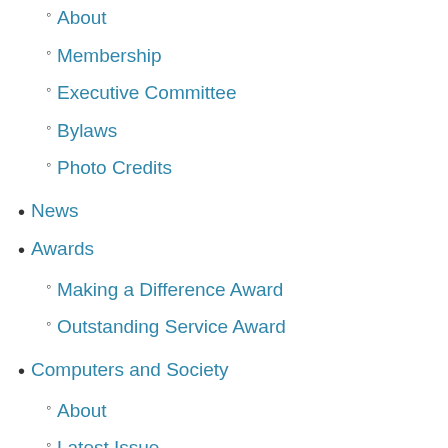About
Membership
Executive Committee
Bylaws
Photo Credits
News
Awards
Making a Difference Award
Outstanding Service Award
Computers and Society
About
Latest Issue
Archive
Call for Submissions
Areas of Interest
Editorial Calendar